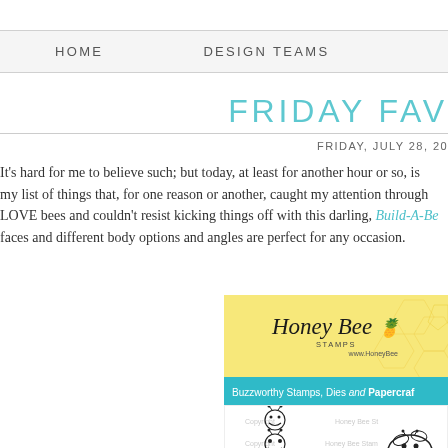HOME    DESIGN TEAMS
FRIDAY FAV
FRIDAY, JULY 28, 20
It's hard for me to believe such; but today, at least for another hour or so, is my list of things that, for one reason or another, caught my attention through LOVE bees and couldn't resist kicking things off with this darling, Build-A-Be faces and different body options and angles are perfect for any occasion.
[Figure (photo): Honey Bee Stamps product image showing logo with honeycomb background, buzzworthy stamps banner in teal, and line-art bee faces/stamps illustration below]